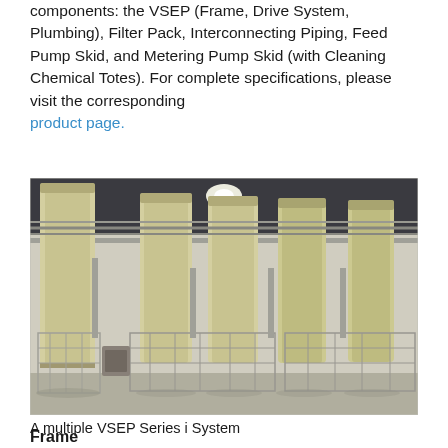components: the VSEP (Frame, Drive System, Plumbing), Filter Pack, Interconnecting Piping, Feed Pump Skid, and Metering Pump Skid (with Cleaning Chemical Totes). For complete specifications, please visit the corresponding product page.
[Figure (photo): Interior of an industrial facility showing multiple VSEP Series i Systems arranged in rows. Large cylindrical filter units are mounted on metal frames/cages with piping visible throughout. The space has a high roof with industrial lighting.]
A multiple VSEP Series i System
Frame